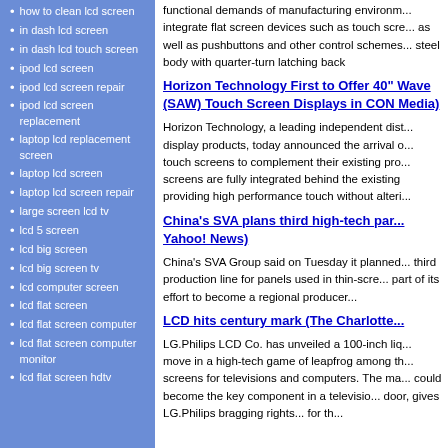how to clean lcd screen
in dash lcd screen
in dash lcd touch screen
ipod lcd screen
ipod lcd screen repair
ipod lcd screen replacement
laptop lcd replacement screen
laptop lcd screen
laptop lcd screen repair
large screen lcd tv
lcd 5 screen
lcd big screen
lcd big screen tv
lcd computer screen
lcd flat screen
lcd flat screen computer
lcd flat screen computer monitor
lcd flat screen hdtv
functional demands of manufacturing environments integrate flat screen devices such as touch screens, as well as pushbuttons and other control schemes. steel body with quarter-turn latching back
Horizon Technology First to Offer 40" Wave (SAW) Touch Screen Displays in CON Media)
Horizon Technology, a leading independent distributor of display products, today announced the arrival of SAW touch screens to complement their existing products. The screens are fully integrated behind the existing display providing high performance touch without altering...
China's SVA plans third high-tech park (Yahoo! News)
China's SVA Group said on Tuesday it planned to build a third production line for panels used in thin-screen TVs as part of its effort to become a regional producer...
LCD hits century mark (The Charlotte...)
LG.Philips LCD Co. has unveiled a 100-inch liquid move in a high-tech game of leapfrog among the screens for televisions and computers. The manufacturer could become the key component in a television door, gives LG.Philips bragging rights... for the...